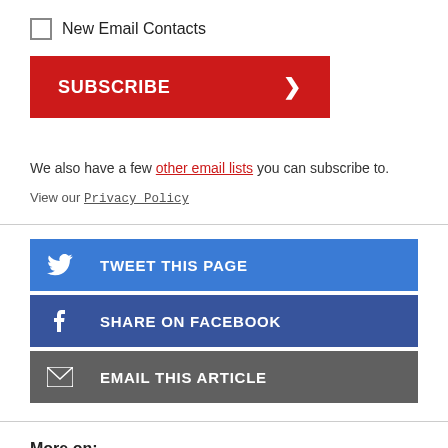New Email Contacts
[Figure (other): Red SUBSCRIBE button with right-arrow]
We also have a few other email lists you can subscribe to.
View our Privacy Policy
[Figure (other): Tweet This Page button (blue with Twitter bird icon)]
[Figure (other): Share on Facebook button (dark blue with Facebook f icon)]
[Figure (other): Email This Article button (grey with envelope icon)]
More on:
Community